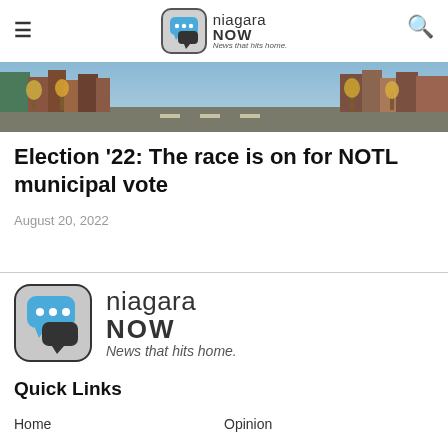niagara NOW News that hits home.
[Figure (photo): Street-level photo of a tree-lined town main street with buildings on both sides, autumn foliage]
Election '22: The race is on for NOTL municipal vote
August 20, 2022
[Figure (logo): Niagara NOW logo — large version with speech bubble icon, text 'niagara NOW News that hits home.']
Quick Links
Home
Opinion